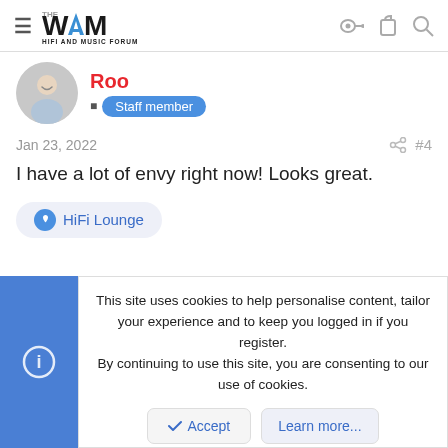THE WAM HIFI AND MUSIC FORUM
Roo
Staff member
Jan 23, 2022  #4
I have a lot of envy right now! Looks great.
HiFi Lounge
This site uses cookies to help personalise content, tailor your experience and to keep you logged in if you register. By continuing to use this site, you are consenting to our use of cookies.
Accept   Learn more...